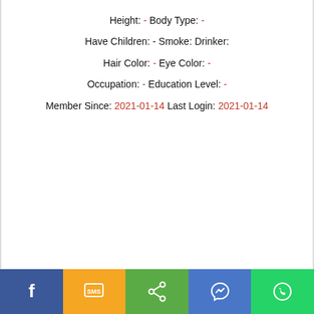Height: - Body Type: -
Have Children: - Smoke: Drinker:
Hair Color: - Eye Color: -
Occupation: - Education Level: -
Member Since: 2021-01-14 Last Login: 2021-01-14
[Figure (infographic): Footer bar with social sharing buttons: Facebook (blue), SMS (orange), Share (green), Messenger (blue), WhatsApp (green)]